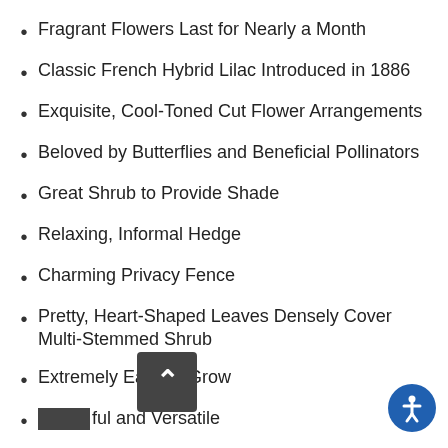Fragrant Flowers Last for Nearly a Month
Classic French Hybrid Lilac Introduced in 1886
Exquisite, Cool-Toned Cut Flower Arrangements
Beloved by Butterflies and Beneficial Pollinators
Great Shrub to Provide Shade
Relaxing, Informal Hedge
Charming Privacy Fence
Pretty, Heart-Shaped Leaves Densely Cover Multi-Stemmed Shrub
Extremely Easy to Grow
Useful and Versatile
...on Blooms Year After Year With Proper